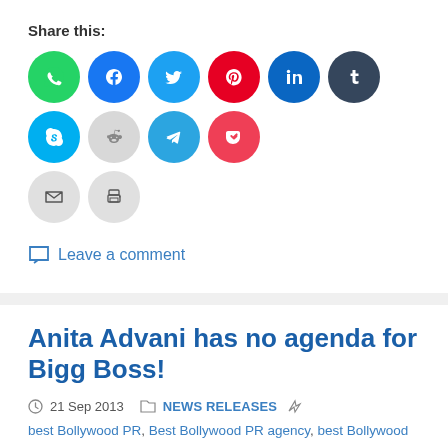Share this:
[Figure (infographic): Row of social media share icons: WhatsApp (green), Facebook (blue), Twitter (cyan), Pinterest (red), LinkedIn (teal), Tumblr (dark navy), Skype (blue), Reddit (light gray), Telegram (blue), Pocket (red); second row: Email (gray), Print (gray)]
Leave a comment
Anita Advani has no agenda for Bigg Boss!
21 Sep 2013   NEWS RELEASES   best Bollywood PR, Best Bollywood PR agency, best Bollywood publicists, Best PR agencies in Mumbai India, Best PR agency, Best PR books, Bigg Boss publicity, Bollywood controversy, Bollywood dissertation, Bollywood film promotion, Bollywood PR agencies, Bollywood